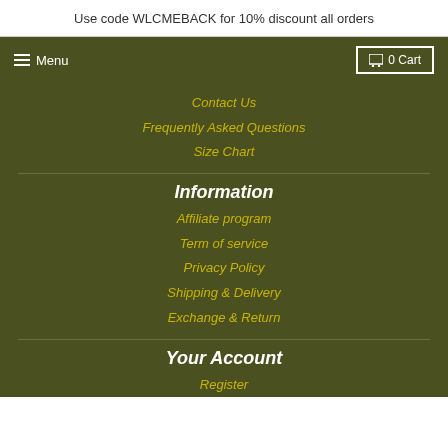Use code WLCMEBACK for 10% discount all orders
Menu | 0 Cart
Contact Us
Frequently Asked Questions
Size Chart
Information
Affiliate program
Term of service
Privacy Policy
Shipping & Delivery
Exchange & Return
Your Account
Register